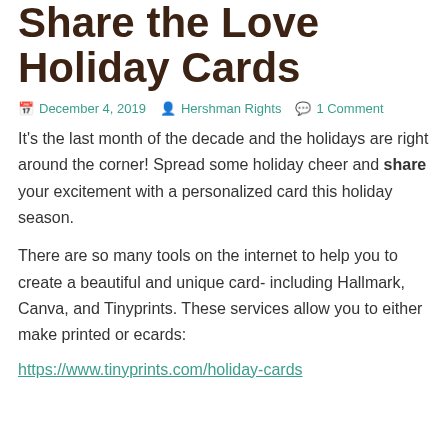Share the Love Holiday Cards
December 4, 2019   Hershman Rights   1 Comment
It's the last month of the decade and the holidays are right around the corner! Spread some holiday cheer and share your excitement with a personalized card this holiday season.
There are so many tools on the internet to help you to create a beautiful and unique card- including Hallmark, Canva, and Tinyprints. These services allow you to either make printed or ecards:
https://www.tinyprints.com/holiday-cards